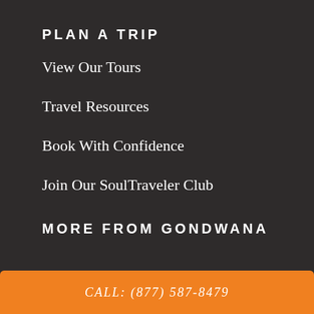PLAN A TRIP
View Our Tours
Travel Resources
Book With Confidence
Join Our SoulTraveler Club
MORE FROM GONDWANA
CALL: (877) 587-8479